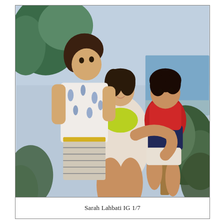[Figure (photo): A woman smiling sits outdoors near a beach, holding a toddler in a colorful red and dark outfit. An older boy in a white and blue palm-print shirt and striped shorts leans against her. Lush tropical greenery and ocean visible in background.]
Sarah Lahbati IG 1/7